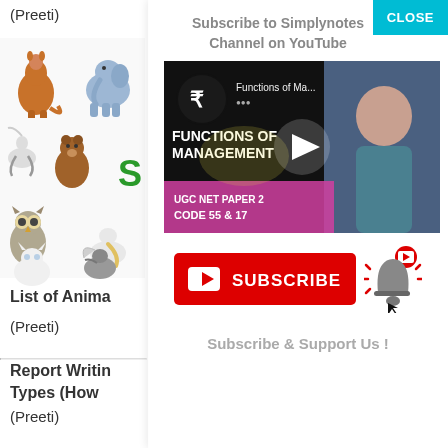(Preeti)
[Figure (illustration): Grid of cartoon animal illustrations: kangaroo, elephant, bear, bird of prey, various birds, owl, cat, and other animals on white background.]
List of Anima
(Preeti)
Report Writin Types (How
(Preeti)
Subscribe to Simplynotes Channel on YouTube
CLOSE
[Figure (screenshot): YouTube video thumbnail showing 'Functions of Ma...' with text 'FUNCTIONS OF MANAGEMENT' and 'UGC NET PAPER 2 CODE 55 & 17' with a woman presenter and play button overlay.]
[Figure (illustration): Red YouTube Subscribe button with play icon and bell notification icon with red circle badge.]
Subscribe & Support Us !